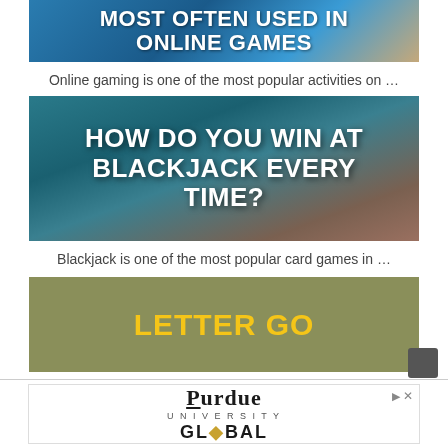[Figure (photo): Top partial image showing online games themed graphic with bold white text 'MOST OFTEN USED IN ONLINE GAMES' on blue/teal background with cartoon characters]
Online gaming is one of the most popular activities on …
[Figure (photo): Blackjack table with playing cards and casino chip, bold white text 'HOW DO YOU WIN AT BLACKJACK EVERY TIME?' overlaid]
Blackjack is one of the most popular card games in …
[Figure (photo): Olive/khaki colored background with bold yellow/gold text 'LETTER GO']
[Figure (logo): Purdue University Global advertisement banner at bottom of page]